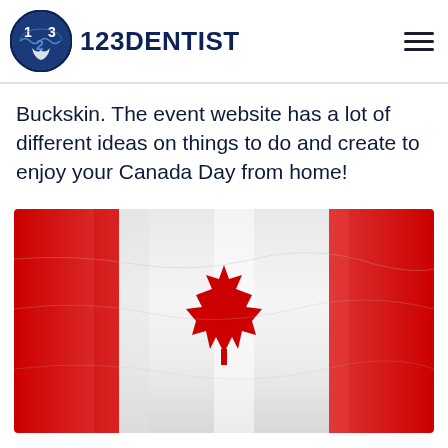123DENTIST
Buckskin. The event website has a lot of different ideas on things to do and create to enjoy your Canada Day from home!
[Figure (photo): Canadian flag waving, showing red and white colours with maple leaf in the centre]